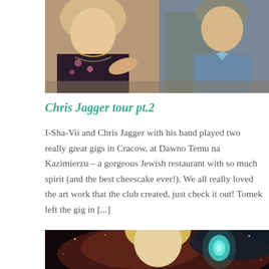[Figure (photo): Two people posing together, a woman on the left wearing floral clothing with necklaces, and a man on the right in a grey-blue jacket]
Chris Jagger tour pt.2
I-Sha-Vii and Chris Jagger with his band played two really great gigs in Cracow, at Dawno Temu na Kazimierzu – a gorgeous Jewish restaurant with so much spirit (and the best cheescake ever!).   We all really loved the art work that the club created, just check it out!   Tomek left the gig in [...]
[Figure (photo): Woman with blonde hair against a dark space/nebula background with a glowing teal light element]